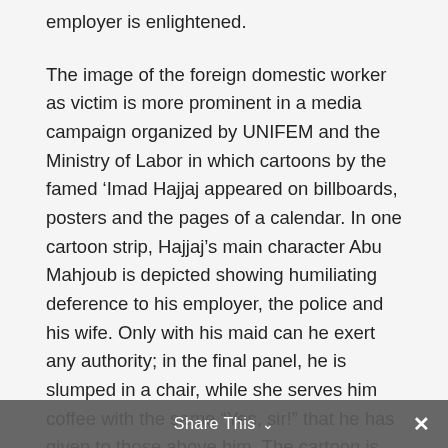employer is enlightened.
The image of the foreign domestic worker as victim is more prominent in a media campaign organized by UNIFEM and the Ministry of Labor in which cartoons by the famed ‘Imad Hajjaj appeared on billboards, posters and the pages of a calendar. In one cartoon strip, Hajjaj’s main character Abu Mahjoub is depicted showing humiliating deference to his employer, the police and his wife. Only with his maid can he exert any authority; in the final panel, he is slumped in a chair, while she serves him coffee with the same “Yes, sir!” that he has given to those above him. The cartoon is headlined: “Thank you, Sri Lanka!” Migrant domestics, the
Share This ∨   ×